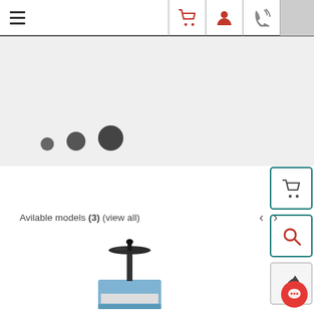[Figure (screenshot): Website navigation bar with hamburger menu icon on left and cart, user, phone, and gray box icons on the right]
[Figure (screenshot): Gray banner area with three dots of increasing size (small, medium, large) representing a carousel/slider indicator]
[Figure (screenshot): Right-side action buttons: cart icon button with teal border, red magnifying glass icon button with teal border, and an arrow/share icon button with gray border]
Avilable models (3) (view all)
[Figure (photo): Laboratory instrument - appears to be a bench-top device with a circular disc/plate on top of a cylindrical post mounted on a blue square base unit]